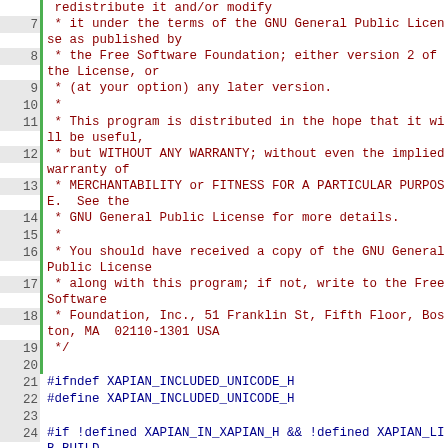[Figure (screenshot): Source code viewer showing lines 7-29 of a C++ header file with GNU GPL license comment and include guards for XAPIAN_INCLUDED_UNICODE_H]
Lines 7-29 of xapian unicode.h source file showing GPL license header and include guards